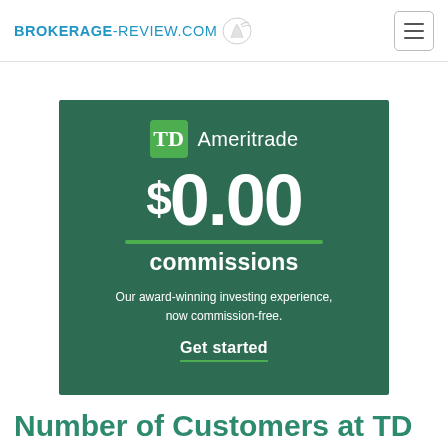BROKERAGE-REVIEW.COM
[Figure (infographic): TD Ameritrade advertisement banner with dark green background showing $0.00 commissions offer. Features TD logo, large price '$0.00', text 'commissions', subtext 'Our award-winning investing experience, now commission-free.' and 'Get started' call-to-action.]
Number of Customers at TD